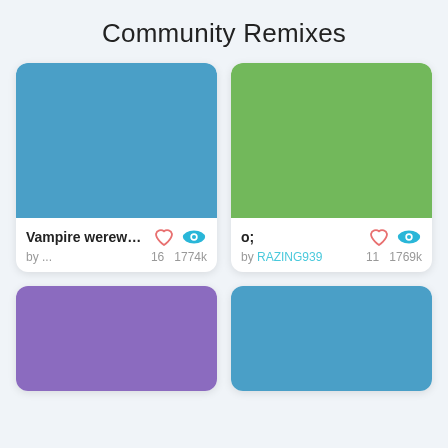Community Remixes
[Figure (screenshot): Card with blue thumbnail for 'Vampire werewо...' by ..., 16 likes, 1774k views]
[Figure (screenshot): Card with green thumbnail for 'o;' by RAZING939, 11 likes, 1769k views]
[Figure (screenshot): Card with purple thumbnail, partially visible at bottom]
[Figure (screenshot): Card with blue thumbnail, partially visible at bottom]